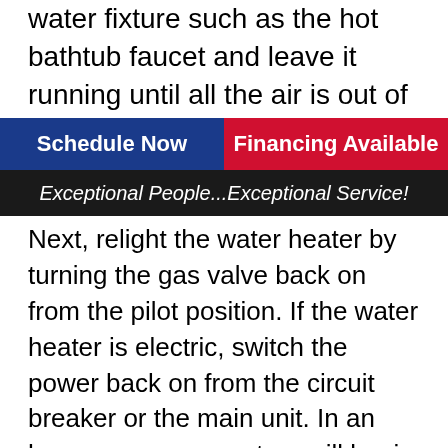water fixture such as the hot bathtub faucet and leave it running until all the air is out of the li...
Schedule Now
Financing Available
Exceptional People...Exceptional Service!
Next, relight the water heater by turning the gas valve back on from the pilot position. If the water heater is electric, switch the power back on from the circuit breaker or the main unit. In an hour or so, your system will begin dispensing hot water.
Before finishing the process, check the drain valve for leaks. If the drain did not close correctly, put a cap over it or install a replacement.